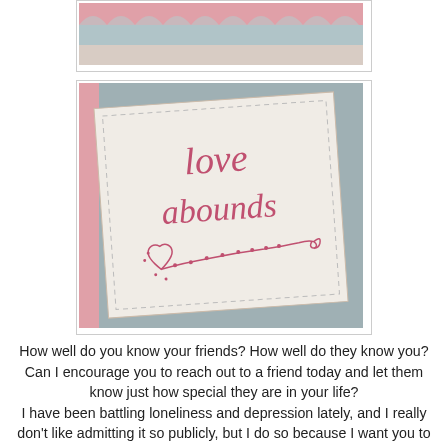[Figure (photo): Top portion of a quilted textile with pink wave/scallop border and gray/blue fabric background]
[Figure (photo): Close-up photo of embroidered fabric square reading 'love abounds' in pink cursive lettering with decorative heart and vine embroidery, on a blue/gray quilted background]
How well do you know your friends? How well do they know you? Can I encourage you to reach out to a friend today and let them know just how special they are in your life? I have been battling loneliness and depression lately, and I really don't like admitting it so publicly, but I do so because I want you to know that it is when these two friends reached out to me that I held tight to the knowledge that I was not alone and I would come out the other end. I'm not there yet, but I know I am loved, and that I have special friends that